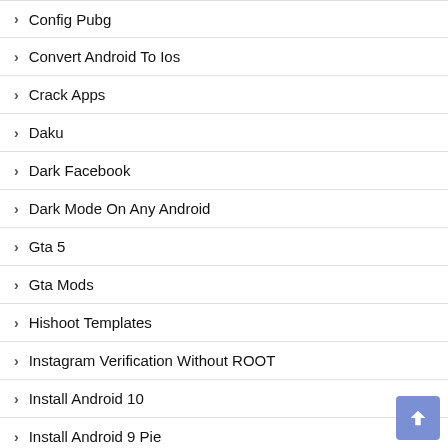Config Pubg
Convert Android To Ios
Crack Apps
Daku
Dark Facebook
Dark Mode On Any Android
Gta 5
Gta Mods
Hishoot Templates
Instagram Verification Without ROOT
Install Android 10
Install Android 9 Pie
IOS
Ios Whatsapp
Iphone Setup